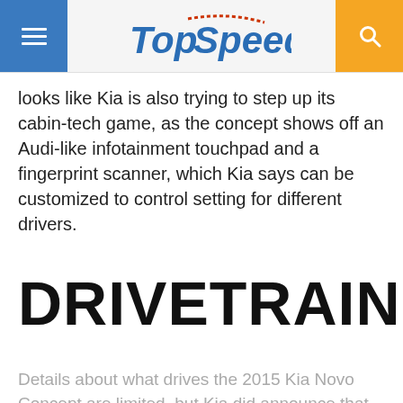TopSpeed
looks like Kia is also trying to step up its cabin-tech game, as the concept shows off an Audi-like infotainment touchpad and a fingerprint scanner, which Kia says can be customized to control setting for different drivers.
DRIVETRAIN
Details about what drives the 2015 Kia Novo Concept are limited, but Kia did announce that the concept is powered by the 1.6-liter turbo-gasoline